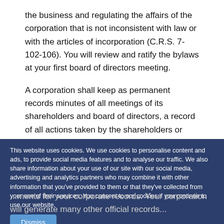the business and regulating the affairs of the corporation that is not inconsistent with law or with the articles of incorporation (C.R.S. 7-102-106). You will review and ratify the bylaws at your first board of directors meeting.
A corporation shall keep as permanent records minutes of all meetings of its shareholders and board of directors, a record of all actions taken by the shareholders or board of directors without a meeting, a record of all actions taken by a committee of the board of directors in place of the board of directors on behalf of the corporation, and a record of all waivers of notice...
This website uses cookies. We use cookies to personalise content and ads, to provide social media features and to analyse our traffic. We also share information about your use of our site with our social media, advertising and analytics partners who may combine it with other information that you've provided to them or that they've collected from your use of their services. You consent to our cookies if you continue to use our website.
Dismiss
...documents for your corporate records. Your corporation will generate many other official records...